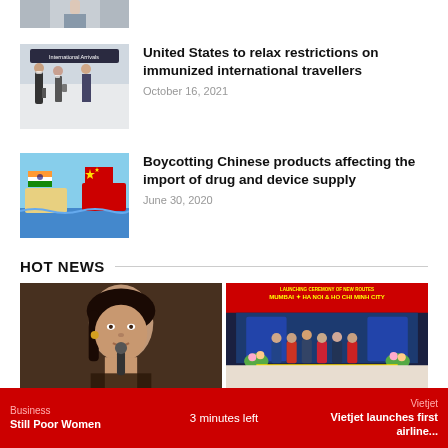[Figure (photo): Partial image of a person in a suit at top of page]
[Figure (photo): People with luggage at International Arrivals area wearing masks]
United States to relax restrictions on immunized international travellers
October 16, 2021
[Figure (illustration): Illustration showing India and China flags on ships facing each other]
Boycotting Chinese products affecting the import of drug and device supply
June 30, 2020
HOT NEWS
[Figure (photo): Woman speaking at a microphone]
[Figure (photo): Launching ceremony of new route Mumbai + Ha Noi & Ho Chi Minh City]
Business
3 minutes left
Still Poor Women
Vietjet launches first airline...